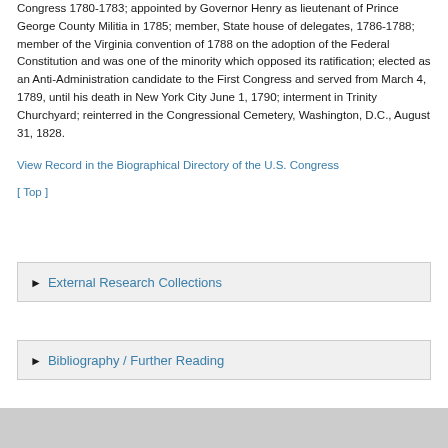Congress 1780-1783; appointed by Governor Henry as lieutenant of Prince George County Militia in 1785; member, State house of delegates, 1786-1788; member of the Virginia convention of 1788 on the adoption of the Federal Constitution and was one of the minority which opposed its ratification; elected as an Anti-Administration candidate to the First Congress and served from March 4, 1789, until his death in New York City June 1, 1790; interment in Trinity Churchyard; reinterred in the Congressional Cemetery, Washington, D.C., August 31, 1828.
View Record in the Biographical Directory of the U.S. Congress
[ Top ]
► External Research Collections
► Bibliography / Further Reading